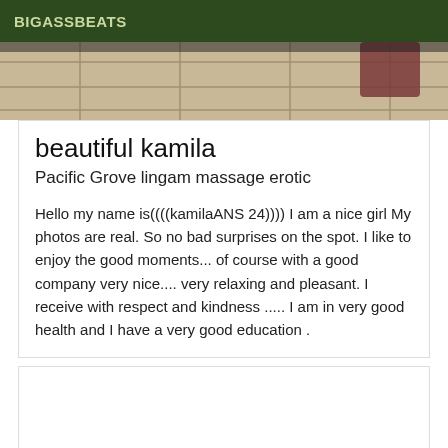BIGASSBEATS
[Figure (photo): Partial photo showing tiled floor with a dark object visible]
beautiful kamila
Pacific Grove lingam massage erotic
Hello my name is((((kamilaANS 24)))) I am a nice girl My photos are real. So no bad surprises on the spot. I like to enjoy the good moments... of course with a good company very nice.... very relaxing and pleasant. I receive with respect and kindness ..... I am in very good health and I have a very good education .